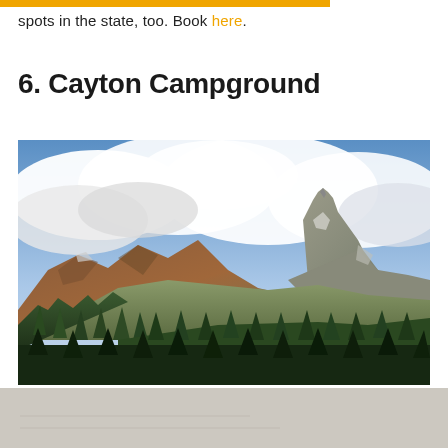spots in the state, too. Book here.
6. Cayton Campground
[Figure (photo): Panoramic mountain landscape with jagged rocky peaks — one tall spire-like summit on the right, reddish-brown mountains on the left, green conifer forest in the foreground, and dramatic blue sky with large white clouds above.]